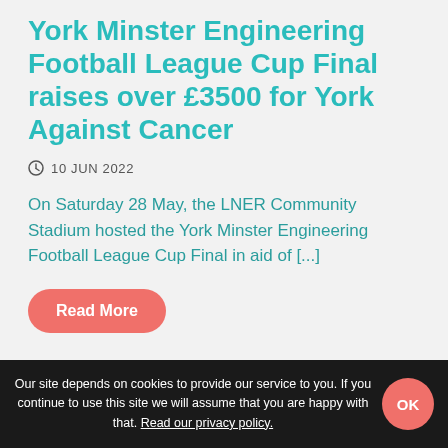York Minster Engineering Football League Cup Final raises over £3500 for York Against Cancer
10 JUN 2022
On Saturday 28 May, the LNER Community Stadium hosted the York Minster Engineering Football League Cup Final in aid of [...]
Read More
Our site depends on cookies to provide our service to you. If you continue to use this site we will assume that you are happy with that. Read our privacy policy.